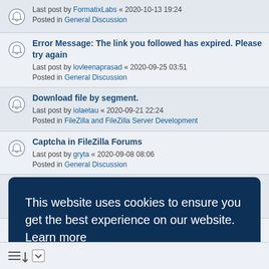Last post by FormatixLabs « 2020-10-13 19:24
Posted in General Discussion
Error Message: The link you followed has expired. Please try again
Last post by lovleenaprasad « 2020-09-25 03:51
Posted in General Discussion
Download file by segment.
Last post by iolaetau « 2020-09-21 22:24
Posted in FileZilla and FileZilla Server Development
Captcha in FileZilla Forums
Last post by gryta « 2020-09-08 08:06
Posted in General Discussion
Wrong site/folder alert
Last post by skulptron « 2020-08-26 00:58
Posted in FileZilla and FileZilla Server Development
please consider more command line options.
Last post by shijunti19 « 2020-08-15 01:56
Posted in FileZilla Client Support
Sharing Folders & Aliases
This website uses cookies to ensure you get the best experience on our website. Learn more
Got it!